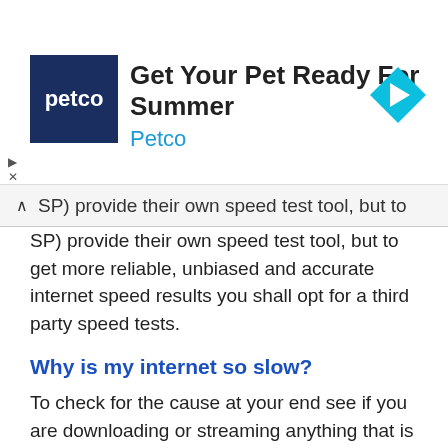[Figure (other): Petco advertisement banner with logo, headline 'Get Your Pet Ready For Summer', subheading 'Petco', and a cyan diamond arrow icon on the right]
SP) provide their own speed test tool, but to get more reliable, unbiased and accurate internet speed results you shall opt for a third party speed tests.
Why is my internet so slow?
To check for the cause at your end see if you are downloading or streaming anything that is consistently using bandwidth in the speed test process. If your speed test still gives the result saying that your internet connection is slow then try to reboot your router.